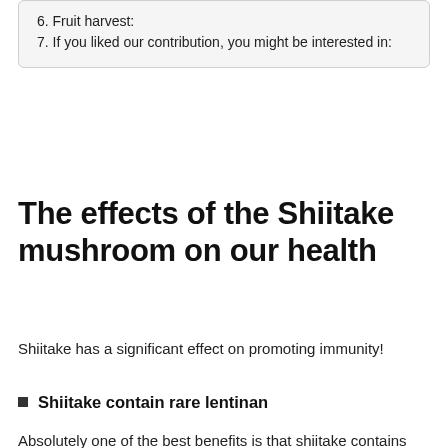6. Fruit harvest:
7. If you liked our contribution, you might be interested in:
The effects of the Shiitake mushroom on our health
Shiitake has a significant effect on promoting immunity!
Shiitake contain rare lentinan
Absolutely one of the best benefits is that shiitake contains lentinan. “Lentinan” is actually a glucan that has been introduced in Japan as a standard part of the